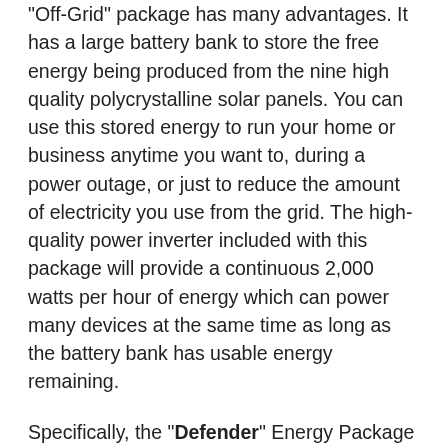"Off-Grid" package has many advantages. It has a large battery bank to store the free energy being produced from the nine high quality polycrystalline solar panels. You can use this stored energy to run your home or business anytime you want to, during a power outage, or just to reduce the amount of electricity you use from the grid. The high-quality power inverter included with this package will provide a continuous 2,000 watts per hour of energy which can power many devices at the same time as long as the battery bank has usable energy remaining.
Specifically, the "Defender" Energy Package can power Refrigerators, Freezers, Power Tools, Electric Weed Trimmers, Electric Chainsaws, Table Saws, Computers, Stereos, Shortwave Radios, TV's, Entertainment Centers, Laptops, Cell Phones, Tablets, Fax Machines, Inkjet Printers/Copiers, Communication Systems, Cash Registers, Security Systems, Vacuum Cleaners, Electric